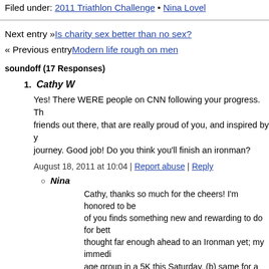Filed under: 2011 Triathlon Challenge • Nina Lovel
Next entry »Is charity sex better than no sex?
« Previous entryModern life rough on men
soundoff (17 Responses)
1. Cathy W
Yes! There WERE people on CNN following your progress. There are friends out there, that are really proud of you, and inspired by your journey. Good job! Do you think you'll finish an ironman?
August 18, 2011 at 10:04 | Report abuse | Reply
Nina
Cathy, thanks so much for the cheers! I'm honored to be... of you finds something new and rewarding to do for better... thought far enough ahead to an Ironman yet; my immediate... age group in a 5K this Saturday, (b) same for a sprint tri... marathon within 3 months, and (d) do a century ride with... goals! 🙂
August 18, 2011 at 11:12 | Report abuse |